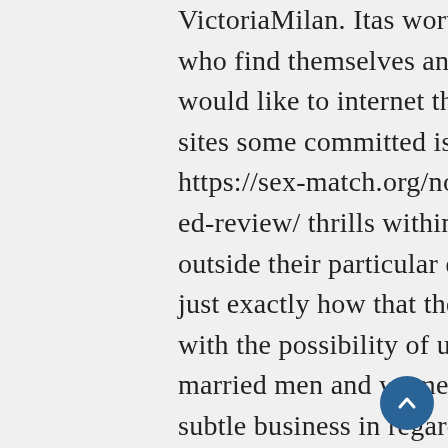VictoriaMilan. Itas worthy of people who find themselves annoyed or would like to internet the internet sites some committed issues and https://sex-match.org/nostringsattached-review/ thrills within periods outside their particular dating. It's in just exactly how that they provide you with the possibility of unmarried and married men and women to bring subtle business in regards to